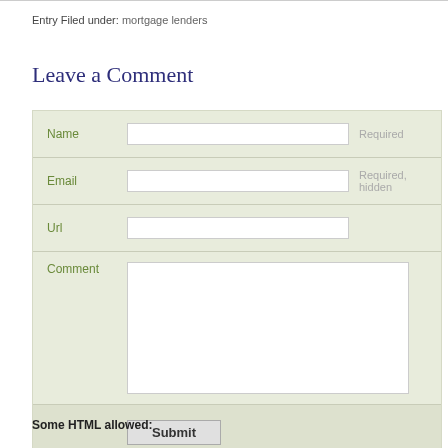Entry Filed under: mortgage lenders
Leave a Comment
[Figure (other): A comment submission form with fields for Name, Email, Url, and Comment, plus a Submit button. The form has a light green/beige background.]
Some HTML allowed: